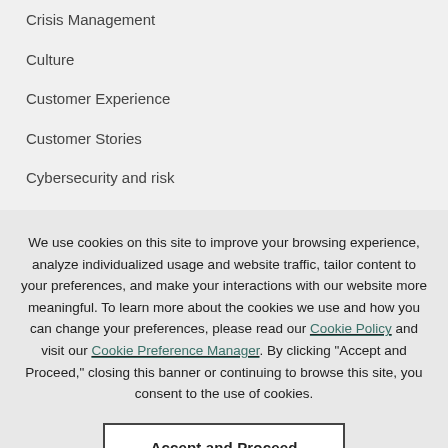Crisis Management
Culture
Customer Experience
Customer Stories
Cybersecurity and risk
Education
Employee Engagement (partial)
We use cookies on this site to improve your browsing experience, analyze individualized usage and website traffic, tailor content to your preferences, and make your interactions with our website more meaningful. To learn more about the cookies we use and how you can change your preferences, please read our Cookie Policy and visit our Cookie Preference Manager. By clicking "Accept and Proceed," closing this banner or continuing to browse this site, you consent to the use of cookies.
Accept and Proceed